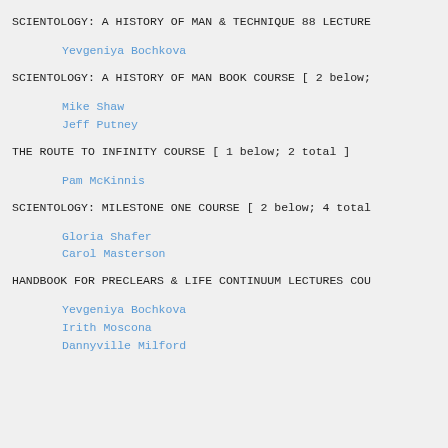SCIENTOLOGY: A HISTORY OF MAN & TECHNIQUE 88 LECTURE
Yevgeniya Bochkova
SCIENTOLOGY: A HISTORY OF MAN BOOK COURSE [ 2 below;
Mike Shaw
Jeff Putney
THE ROUTE TO INFINITY COURSE [ 1 below; 2 total ]
Pam McKinnis
SCIENTOLOGY: MILESTONE ONE COURSE [ 2 below; 4 total
Gloria Shafer
Carol Masterson
HANDBOOK FOR PRECLEARS & LIFE CONTINUUM LECTURES COU
Yevgeniya Bochkova
Irith Moscona
Dannyville Milford